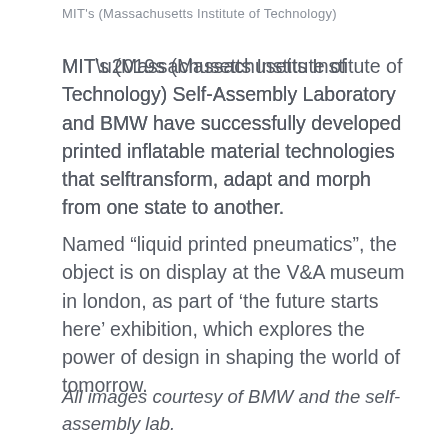MIT's (Massachusetts Institute of Technology)
MIT’s (Massachusetts Institute of Technology) Self-Assembly Laboratory and BMW have successfully developed printed inflatable material technologies that selftransform, adapt and morph from one state to another.
Named “liquid printed pneumatics”, the object is on display at the V&A museum in london, as part of ‘the future starts here’ exhibition, which explores the power of design in shaping the world of tomorrow.
All images courtesy of BMW and the self-assembly lab.